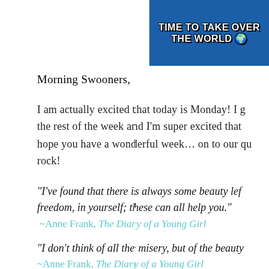[Figure (photo): Meme image showing a minion character with text 'TIME TO TAKE OVER THE WORLD' with a globe emoji, white bold text on dark blue background]
Morning Swooners,
I am actually excited that today is Monday! I g... the rest of the week and I'm super excited that ... hope you have a wonderful week… on to our qu... rock!
"I've found that there is always some beauty lef... freedom, in yourself; these can all help you." ~Anne Frank, The Diary of a Young Girl
"I don't think of all the misery, but of the beauty... ~Anne Frank, The Diary of a Young Girl